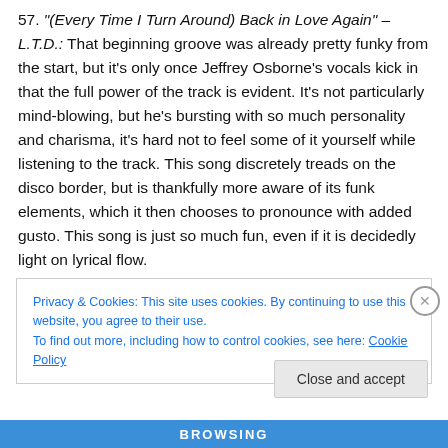57. "(Every Time I Turn Around) Back in Love Again" – L.T.D.: That beginning groove was already pretty funky from the start, but it's only once Jeffrey Osborne's vocals kick in that the full power of the track is evident. It's not particularly mind-blowing, but he's bursting with so much personality and charisma, it's hard not to feel some of it yourself while listening to the track. This song discretely treads on the disco border, but is thankfully more aware of its funk elements, which it then chooses to pronounce with added gusto. This song is just so much fun, even if it is decidedly light on lyrical flow.
Privacy & Cookies: This site uses cookies. By continuing to use this website, you agree to their use. To find out more, including how to control cookies, see here: Cookie Policy
Close and accept